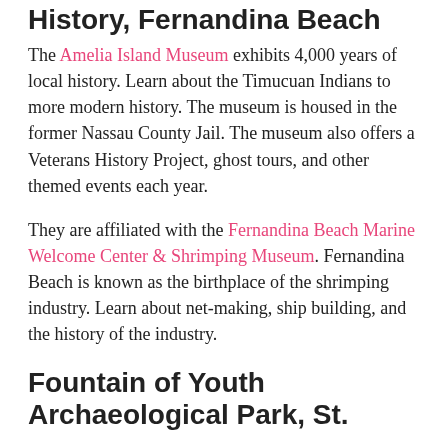History, Fernandina Beach
The Amelia Island Museum exhibits 4,000 years of local history. Learn about the Timucuan Indians to more modern history. The museum is housed in the former Nassau County Jail. The museum also offers a Veterans History Project, ghost tours, and other themed events each year.
They are affiliated with the Fernandina Beach Marine Welcome Center & Shrimping Museum. Fernandina Beach is known as the birthplace of the shrimping industry. Learn about net-making, ship building, and the history of the industry.
Fountain of Youth Archaeological Park, St.